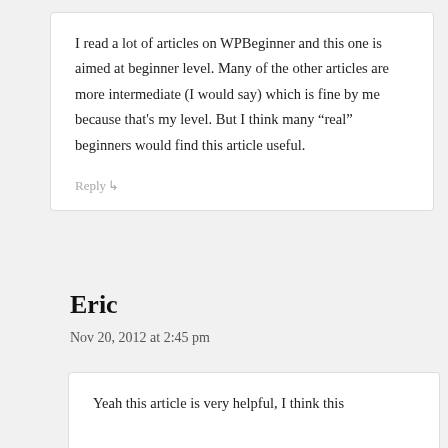I read a lot of articles on WPBeginner and this one is aimed at beginner level. Many of the other articles are more intermediate (I would say) which is fine by me because that's my level. But I think many “real” beginners would find this article useful.
Reply
Eric
Nov 20, 2012 at 2:45 pm
Yeah this article is very helpful, I think this